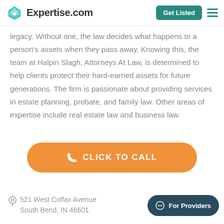Expertise.com | Get Listed
legacy. Without one, the law decides what happens to a person's assets when they pass away. Knowing this, the team at Halpin Slagh, Attorneys At Law, is determined to help clients protect their hard-earned assets for future generations. The firm is passionate about providing services in estate planning, probate, and family law. Other areas of expertise include real estate law and business law.
CLICK TO CALL
521 West Colfax Avenue South Bend, IN 46601
For Providers